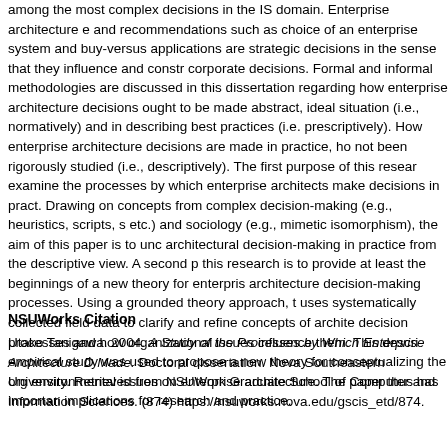among the most complex decisions in the IS domain. Enterprise architecture e and recommendations such as choice of an enterprise system and buy-versus applications are strategic decisions in the sense that they influence and constr corporate decisions. Formal and informal methodologies are discussed in this dissertation regarding how enterprise architecture decisions ought to be made abstract, ideal situation (i.e., normatively) and in describing best practices (i.e. prescriptively). How enterprise architecture decisions are made in practice, ho not been rigorously studied (i.e., descriptively). The first purpose of this resear examine the processes by which enterprise architects make decisions in practic Drawing on concepts from complex decision-making (e.g., heuristics, scripts, s etc.) and sociology (e.g., mimetic isomorphism), the aim of this paper is to unc architectural decision-making in practice from the descriptive view. A second p this research is to provide at least the beginnings of a new theory for enterpris architecture decision-making processes. Using a grounded theory approach, t uses systematically collected field data to clarify and refine concepts of archite decision processes and how organizational issues influence them. This descri empirical study was used to propose a new theory for conceptualizing the org environmental issues on enterprise architecture. The paper thus has importan implications for research and practice.
NSUWorks Citation
Utako Tanigawa. 2004. A Study of the Processes by Which Enterprise Architecture D Made. Doctoral dissertation. Nova Southeastern University. Retrieved from NSUWork Graduate School of Computer and Information Sciences. (874) https://nsuworks.nova.edu/gscis_etd/874.